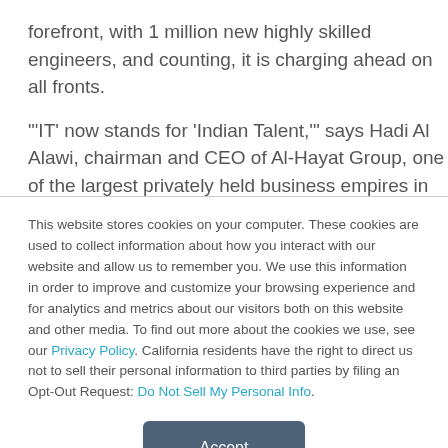forefront, with 1 million new highly skilled engineers, and counting, it is charging ahead on all fronts.
"'IT' now stands for 'Indian Talent,'" says Hadi Al Alawi, chairman and CEO of Al-Hayat Group, one of the largest privately held business empires in Bahrain, which invests heavily in major projects in India.
This website stores cookies on your computer. These cookies are used to collect information about how you interact with our website and allow us to remember you. We use this information in order to improve and customize your browsing experience and for analytics and metrics about our visitors both on this website and other media. To find out more about the cookies we use, see our Privacy Policy. California residents have the right to direct us not to sell their personal information to third parties by filing an Opt-Out Request: Do Not Sell My Personal Info.
Accept